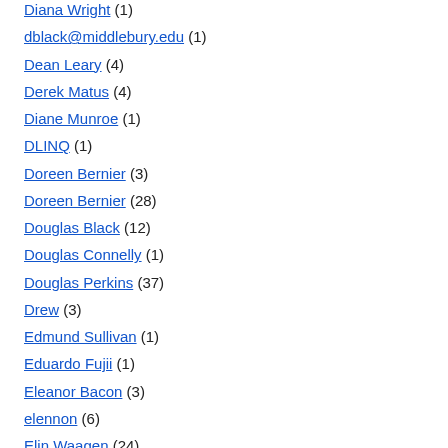Diana Wright (1)
dblack@middlebury.edu (1)
Dean Leary (4)
Derek Matus (4)
Diane Munroe (1)
DLINQ (1)
Doreen Bernier (3)
Doreen Bernier (28)
Douglas Black (12)
Douglas Connelly (1)
Douglas Perkins (37)
Drew (3)
Edmund Sullivan (1)
Eduardo Fujii (1)
Eleanor Bacon (3)
elennon (6)
Elin Waagen (24)
Eliza Wallace (1)
Elizabeth Bartlett (1)